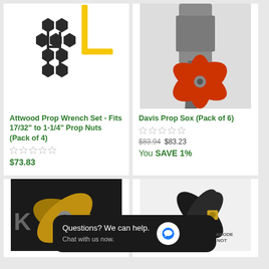[Figure (photo): Attwood Prop Wrench Set product image showing hex nut tool set with yellow L-shaped wrench]
[Figure (photo): Davis Prop Sox (Pack of 6) product image showing red propeller cover on outboard motor]
Attwood Prop Wrench Set - Fits 17/32" to 1-1/4" Prop Nuts (Pack of 4)
☆☆☆☆☆
$73.83
Davis Prop Sox (Pack of 6)
☆☆☆☆☆
$83.94 $83.23
You SAVE 1%
[Figure (photo): Bottom left product: boat propeller with bronze/brass finish, partially visible]
[Figure (photo): Bottom right product: black boat propeller with **ANODE NOT label visible]
Questions? We can help.
Chat with us now.